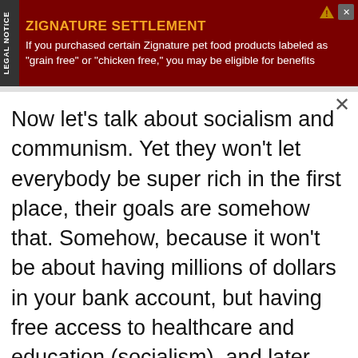[Figure (other): Legal notice advertisement banner for Zignature Settlement. Dark red background with gold title text 'ZIGNATURE SETTLEMENT' and white body text: 'If you purchased certain Zignature pet food products labeled as "grain free" or "chicken free," you may be eligible for benefits'. Vertical 'LEGAL NOTICE' tab on left side.]
Now let's talk about socialism and communism. Yet they won't let everybody be super rich in the first place, their goals are somehow that. Somehow, because it won't be about having millions of dollars in your bank account, but having free access to healthcare and education (socialism), and later, abundance of goods wouldn't limit anyone so they could have free access to the goods they would need (communism). If I remember well, Marx thought that the production capacities would greatly exceed the needs of the population, and anyone